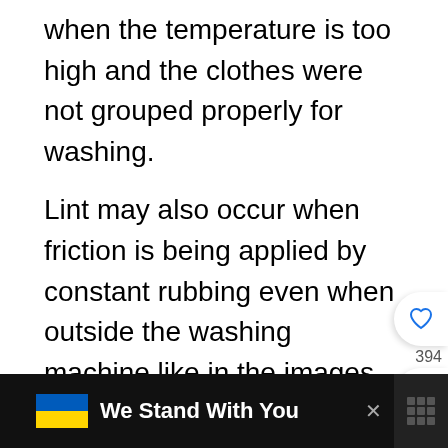when the temperature is too high and the clothes were not grouped properly for washing.
Lint may also occur when friction is being applied by constant rubbing even when outside the washing machine like in the images below. For instance, a sling bag that crosses the chest, or the underarm area. In normal usage, this is usually the sign of a worn garment and since lint forms from the very fibers of the material, it will eventually result in thinner, worn patches.
[Figure (screenshot): Ad banner at bottom: dark background with Ukraine flag icon and text 'We Stand With You', close button and right icon]